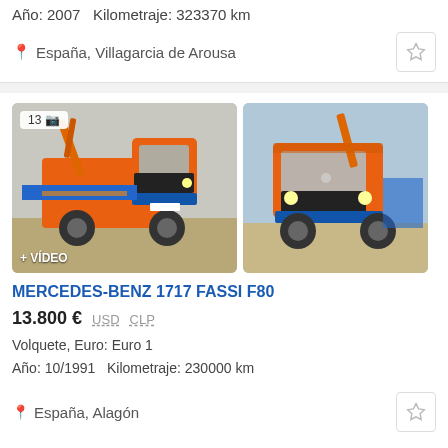Año: 2007  Kilometraje: 323370 km
España, Villagarcia de Arousa
[Figure (photo): Two photos of an orange Mercedes-Benz 1717 Fassi F80 truck with crane attachment. The left photo shows the truck from the front-left angle with a '13 photo' badge and '+ VÍDEO' label. The right photo shows the truck from the front-right angle.]
MERCEDES-BENZ 1717 FASSI F80
13.800 €  USD  CLP
Volquete, Euro: Euro 1
Año: 10/1991  Kilometraje: 230000 km
España, Alagón